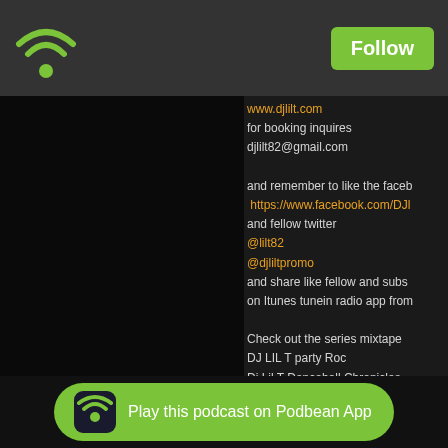[Figure (screenshot): Podbean podcast app interface showing top navigation bar with wifi/podcast icon on the left and green Follow button on the right]
[Figure (photo): Black square image panel on the left side, likely an album/podcast cover]
www.djlilt.com
for booking inquires
djlilt82@gmail.com

and remember to like the faceb...
https://www.facebook.com/DJ...
and fellow twitter
@lilt82
@djliltpromo
and share like fellow and subs...
on Itunes tunein radio app from...
Check out the series mixtape
DJ LIL T party Roc
Dj Lil T Dancehall Chronicles
Dj Lil T hiphop Chronicles
Dj Lil T Positive Vybration
for booking and hosting
Djlilt82@gmail.com
[Figure (infographic): Green rounded button at the bottom with Podbean app icon and text 'Play this podcast on Podbean App']